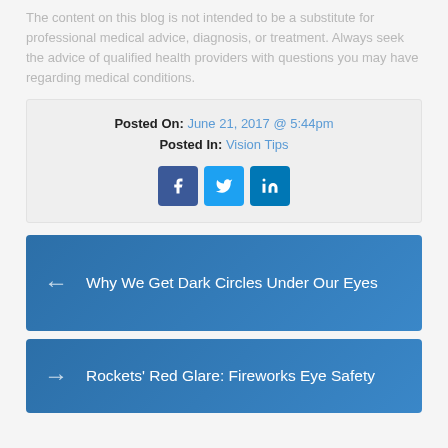The content on this blog is not intended to be a substitute for professional medical advice, diagnosis, or treatment. Always seek the advice of qualified health providers with questions you may have regarding medical conditions.
Posted On: June 21, 2017 @ 5:44pm
Posted In: Vision Tips
[Figure (other): Social sharing icons: Facebook, Twitter, LinkedIn buttons]
← Why We Get Dark Circles Under Our Eyes
→ Rockets' Red Glare: Fireworks Eye Safety